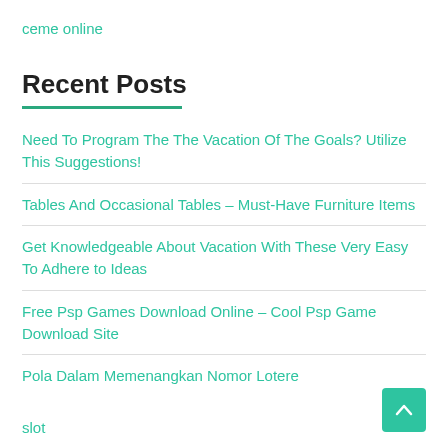ceme online
Recent Posts
Need To Program The The Vacation Of The Goals? Utilize This Suggestions!
Tables And Occasional Tables – Must-Have Furniture Items
Get Knowledgeable About Vacation With These Very Easy To Adhere to Ideas
Free Psp Games Download Online – Cool Psp Game Download Site
Pola Dalam Memenangkan Nomor Lotere
slot